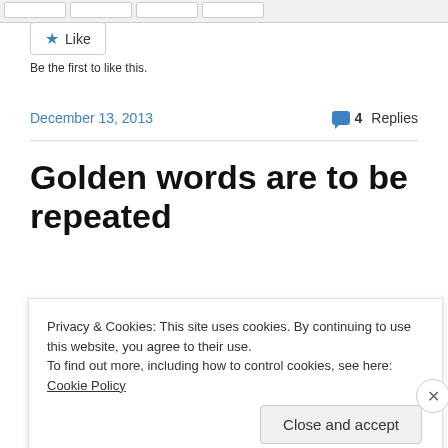[Figure (screenshot): Partial top navigation bar with truncated buttons]
Like
Be the first to like this.
December 13, 2013
4 Replies
Golden words are to be repeated
Leela
Privacy & Cookies: This site uses cookies. By continuing to use this website, you agree to their use.
To find out more, including how to control cookies, see here: Cookie Policy
Close and accept